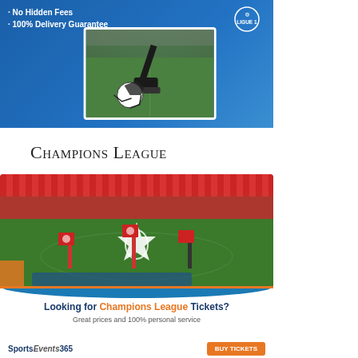[Figure (illustration): Blue background advertisement for soccer/Ligue 1 tickets showing bullet points 'No Hidden Fees' and '100% Delivery Guarantee' with Ligue 1 badge and a framed photo of a soccer ball being kicked]
Champions League
[Figure (illustration): Champions League tickets advertisement showing a stadium photo with the Champions League star logo on the pitch, team banners, players, then white panel below saying 'Looking for Champions League Tickets? Great prices and 100% personal service' with SportEvents365 branding and buy button]